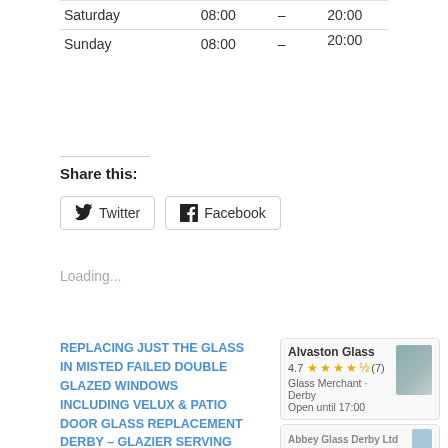| Day | Open |  | Close |
| --- | --- | --- | --- |
| Saturday | 08:00 | – | 20:00 |
| Sunday | 08:00 | – | 20:00 |
Share this:
Twitter  Facebook
Loading...
REPLACING JUST THE GLASS IN MISTED FAILED DOUBLE GLAZED WINDOWS INCLUDING VELUX & PATIO DOOR GLASS REPLACEMENT DERBY – GLAZIER SERVING MICKLEOVER LITTLEOVER MACKWORTH CHADDESDEN ALVASTON CHELLASTON
Alvaston Glass 4.7 ★★★★½ (7) Glass Merchant · Derby Open until 17:00
Abbey Glass Derby Ltd
REPLACING MISTED DOUBLE GLAZING INCLUDING BLOWN VELUX WINDOW PANES DERBY GLAZIER